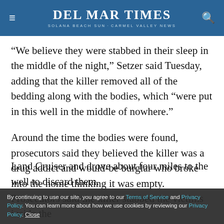Del Mar Times | Solana Beach Sun-Carmel Valley News
“We believe they were stabbed in their sleep in the middle of the night,” Setzer said Tuesday, adding that the killer removed all of the bedding along with the bodies, which “were put in this well in the middle of nowhere.”
Around the time the bodies were found, prosecutors said they believed the killer was a drug addict and would-be burglar who broke into the home thinking it was empty. Prosecutors said the killer stabbed the victims inside the Land Cruiser and drove about four miles to the well to discard them.
By continuing to use our site, you agree to our Terms of Service and Privacy Policy. You can learn more about how we use cookies by reviewing our Privacy Policy. Close